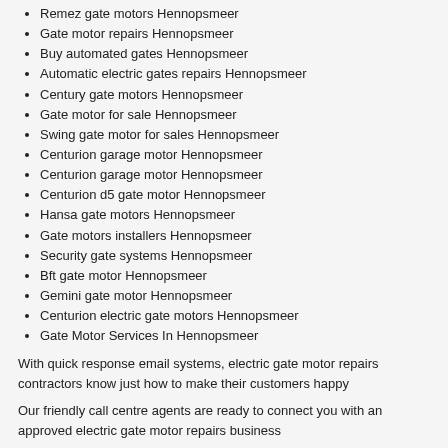Remez gate motors Hennopsmeer
Gate motor repairs Hennopsmeer
Buy automated gates Hennopsmeer
Automatic electric gates repairs Hennopsmeer
Century gate motors Hennopsmeer
Gate motor for sale Hennopsmeer
Swing gate motor for sales Hennopsmeer
Centurion garage motor Hennopsmeer
Centurion garage motor Hennopsmeer
Centurion d5 gate motor Hennopsmeer
Hansa gate motors Hennopsmeer
Gate motors installers Hennopsmeer
Security gate systems Hennopsmeer
Bft gate motor Hennopsmeer
Gemini gate motor Hennopsmeer
Centurion electric gate motors Hennopsmeer
Gate Motor Services In Hennopsmeer
With quick response email systems, electric gate motor repairs contractors know just how to make their customers happy
Our friendly call centre agents are ready to connect you with an approved electric gate motor repairs business
We are the best Centurion garage motor company in Hennopsmeer so give us a call at: 010 109 3732 today!
Domestic gas pipe installation in Hennopsmeer >>